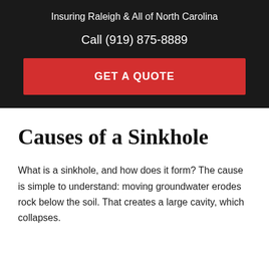Insuring Raleigh & All of North Carolina
Call (919) 875-8889
GET A QUOTE
Causes of a Sinkhole
What is a sinkhole, and how does it form? The cause is simple to understand: moving groundwater erodes rock below the soil. That creates a large cavity, which collapses.